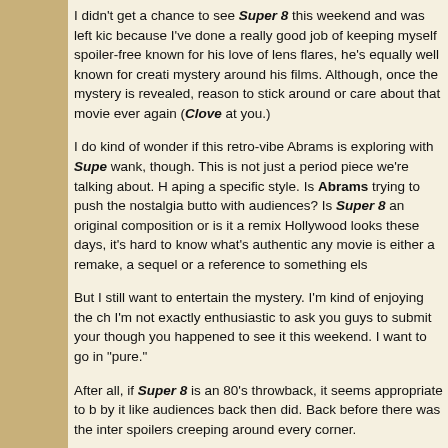I didn't get a chance to see Super 8 this weekend and was left kic because I've done a really good job of keeping myself spoiler-free known for his love of lens flares, he's equally well known for creati mystery around his films. Although, once the mystery is revealed, reason to stick around or care about that movie ever again (Clove at you.)
I do kind of wonder if this retro-vibe Abrams is exploring with Supe wank, though. This is not just a period piece we're talking about. H aping a specific style. Is Abrams trying to push the nostalgia butto with audiences? Is Super 8 an original composition or is it a remix Hollywood looks these days, it's hard to know what's authentic any movie is either a remake, a sequel or a reference to something els
But I still want to entertain the mystery. I'm kind of enjoying the ch I'm not exactly enthusiastic to ask you guys to submit your though you happened to see it this weekend. I want to go in "pure."
After all, if Super 8 is an 80's throwback, it seems appropriate to b by it like audiences back then did. Back before there was the inter spoilers creeping around every corner.
Am I alone in this? Did anyone else experience the same sense o Super 8? Is it justified or am I being manipulated? And if I'm being that kind of the point?
I guess I'm feeling kind of philosophical today. If you'd like to add